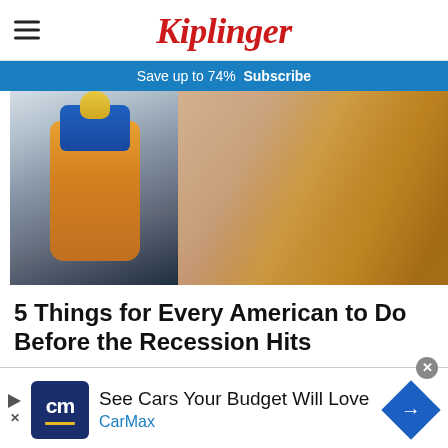Kiplinger
Save up to 74%  Subscribe
[Figure (photo): A woman with blonde hair looking at an orange baby bottle with a yellow nipple and blue cap]
5 Things for Every American to Do Before the Recession Hits
[Figure (infographic): CarMax advertisement banner: See Cars Your Budget Will Love - CarMax logo with navigation arrow icon]